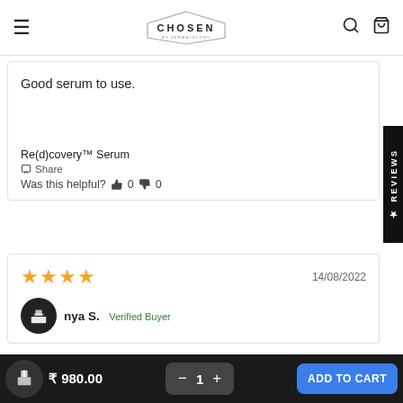CHOSEN BY DERMATOLOGY
Good serum to use.
Re(d)covery™ Serum
Share
Was this helpful? 0 0
[Figure (other): Vertical black tab on right edge reading REVIEWS with star icon]
14/08/2022
[Figure (other): Four gold stars rating]
nya S. Verified Buyer
₹ 980.00
− 1 + ADD TO CART